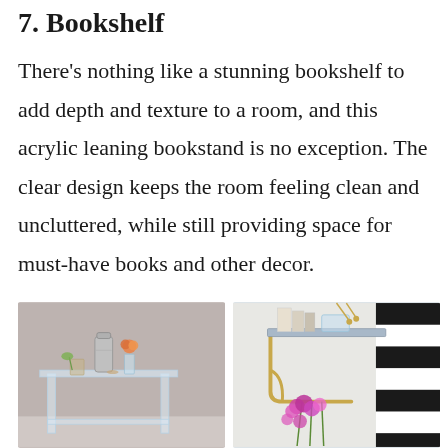7. Bookshelf
There's nothing like a stunning bookshelf to add depth and texture to a room, and this acrylic leaning bookstand is no exception. The clear design keeps the room feeling clean and uncluttered, while still providing space for must-have books and other decor.
[Figure (photo): Left photo: an acrylic side table with a silver cocktail shaker, a glass with a drink, a small orange flower in a clear vase, and other items on top, against a gray background.]
[Figure (photo): Right photo: a wall-mounted shelf with gold bracket supports, holding books and an acrylic object, with pink/purple flowers below and a black-and-white striped wall on the right.]